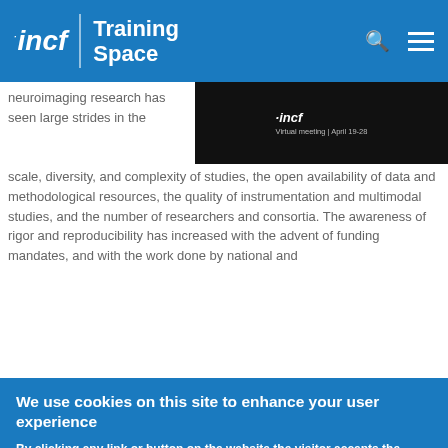INCF | Training Space
[Figure (logo): INCF Training Space website header with INCF logo, Training Space text, search icon, and hamburger menu icon on blue background]
neuroimaging research has seen large strides in the scale, diversity, and complexity of studies, the open availability of data and methodological resources, the quality of instrumentation and multimodal studies, and the number of researchers and consortia. The awareness of rigor and reproducibility has increased with the advent of funding mandates, and with the work done by national and
[Figure (screenshot): INCF virtual meeting banner showing INCF logo and text 'Virtual meeting | April 19-28' on black background]
We use cookies on this site to enhance your user experience

By clicking any link or button on the website the visitor accepts the cookie policy. More info

Accept   No, thanks